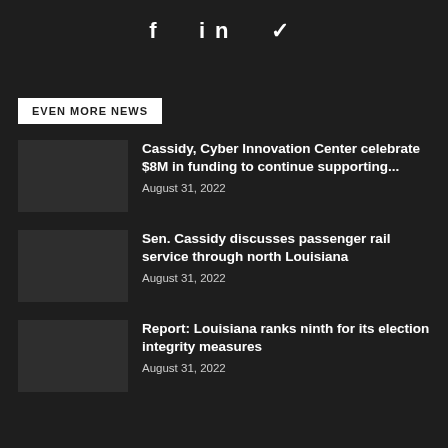f  in  ✓
EVEN MORE NEWS
Cassidy, Cyber Innovation Center celebrate $8M in funding to continue supporting...
August 31, 2022
Sen. Cassidy discusses passenger rail service through north Louisiana
August 31, 2022
Report: Louisiana ranks ninth for its election integrity measures
August 31, 2022